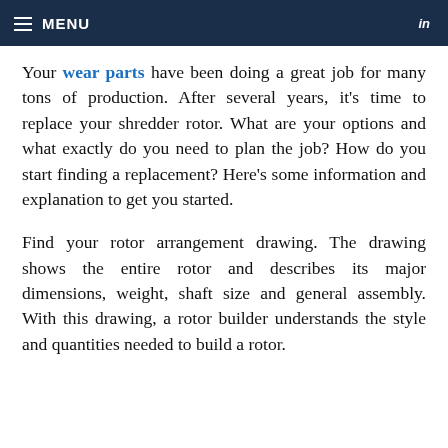MENU   in
Your wear parts have been doing a great job for many tons of production.  After several years, it's time to replace your shredder rotor.  What are your options and what exactly do you need to plan the job?  How do you start finding a replacement?  Here's some information and explanation to get you started.
Find your rotor arrangement drawing.  The drawing shows the entire rotor and describes its major dimensions, weight, shaft size and general assembly.  With this drawing, a rotor builder understands the style and quantities needed to build a rotor.